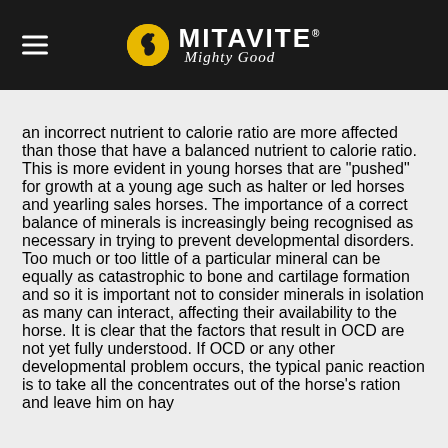MITAVITE® Mighty Good
an incorrect nutrient to calorie ratio are more affected than those that have a balanced nutrient to calorie ratio. This is more evident in young horses that are "pushed" for growth at a young age such as halter or led horses and yearling sales horses. The importance of a correct balance of minerals is increasingly being recognised as necessary in trying to prevent developmental disorders. Too much or too little of a particular mineral can be equally as catastrophic to bone and cartilage formation and so it is important not to consider minerals in isolation as many can interact, affecting their availability to the horse. It is clear that the factors that result in OCD are not yet fully understood. If OCD or any other developmental problem occurs, the typical panic reaction is to take all the concentrates out of the horse's ration and leave him on hay